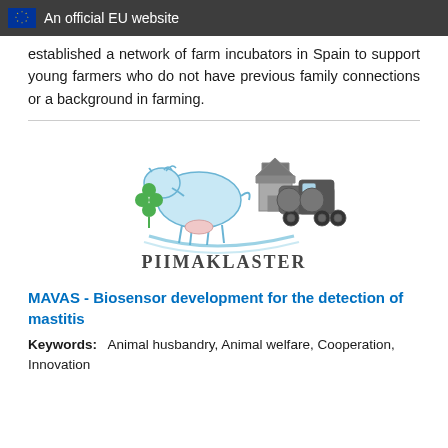An official EU website
established a network of farm incubators in Spain to support young farmers who do not have previous family connections or a background in farming.
[Figure (logo): PIIMAKLASTER logo featuring a stylized cow outline in light blue with a green clover leaf, a barn silhouette in grey, and a milk tanker truck in dark grey, with the word PIIMAKLASTER in dark grey stylized text below]
MAVAS - Biosensor development for the detection of mastitis
Keywords: Animal husbandry, Animal welfare, Cooperation, Innovation